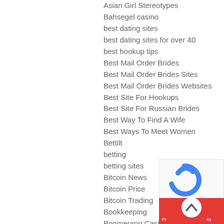Asian Girl Stereotypes
Bahsegel casino
best dating sites
best dating sites for over 40
best hookup tips
Best Mail Order Brides
Best Mail Order Brides Sites
Best Mail Order Brides Websites
Best Site For Hookups
Best Site For Russian Brides
Best Way To Find A Wife
Best Ways To Meet Women
Bettilt
betting
betting sites
Bitcoin News
Bitcoin Price
Bitcoin Trading
Bookkeeping
Boomerang Casino
brides
chinese dating
Craigslist Casual Encounters